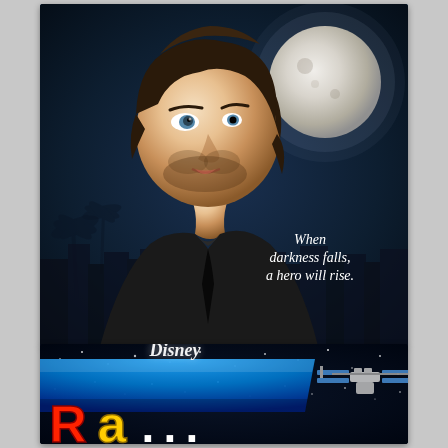[Figure (photo): Movie/TV show promotional poster featuring a young man with dark curly hair and blue eyes looking off to the side, wearing a dark jacket, set against a nighttime cityscape with a large full moon. Tagline reads 'When darkness falls, a hero will rise.']
[Figure (photo): Partial view of a Disney movie/show promotional poster with a dark space background with stars, blue banner with Disney logo in script, and colorful large letters at the bottom partially visible. A space station graphic appears on the right side.]